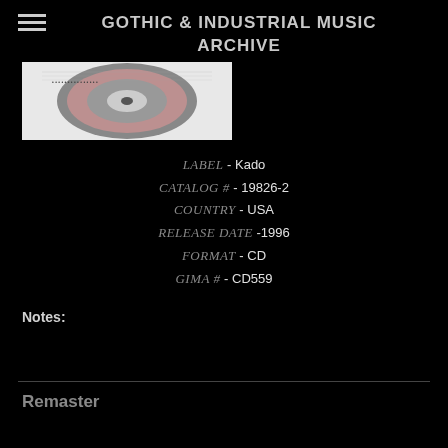GOTHIC & INDUSTRIAL MUSIC ARCHIVE
[Figure (photo): Partial view of a CD/vinyl record showing the top portion of the disc against a light background]
LABEL - Kado
CATALOG # - 19826-2
COUNTRY - USA
RELEASE DATE - 1996
FORMAT - CD
GIMA # - CD559
Notes:
Remaster